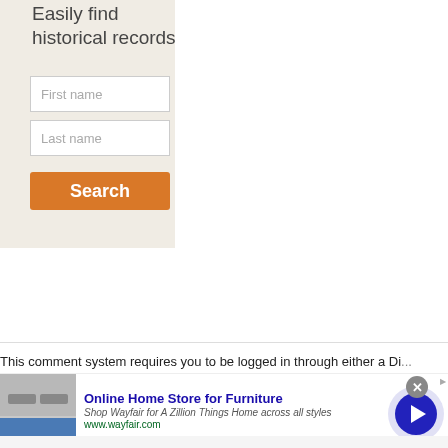Easily find historical records
[Figure (screenshot): Web form with First name and Last name input fields and an orange Search button on a beige background]
This comment system requires you to be logged in through either a Di...
[Figure (screenshot): Online advertisement for Wayfair Online Home Store for Furniture with image of kitchen appliances, close button, and a play/next button circle]